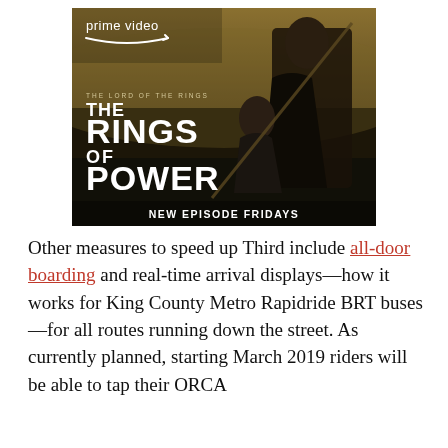[Figure (illustration): Amazon Prime Video advertisement for 'The Lord of the Rings: The Rings of Power' showing two fantasy characters against a dark scenic background with text 'prime video', 'THE LORD OF THE RINGS', 'THE RINGS OF POWER', 'NEW EPISODE FRIDAYS']
Other measures to speed up Third include all-door boarding and real-time arrival displays—how it works for King County Metro Rapidride BRT buses—for all routes running down the street. As currently planned, starting March 2019 riders will be able to tap their ORCA card at their in-service buses and then board the rest